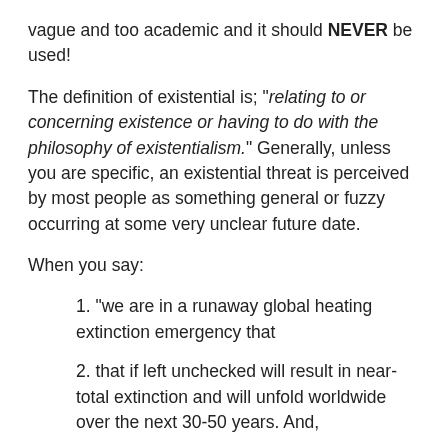vague and too academic and it should NEVER be used!
The definition of existential is; "relating to or concerning existence or having to do with the philosophy of existentialism." Generally, unless you are specific, an existential threat is perceived by most people as something general or fuzzy occurring at some very unclear future date.
When you say:
1. "we are in a runaway global heating extinction emergency that
2. that if left unchecked will result in near-total extinction and will unfold worldwide over the next 30-50 years. And,
3. it will be...